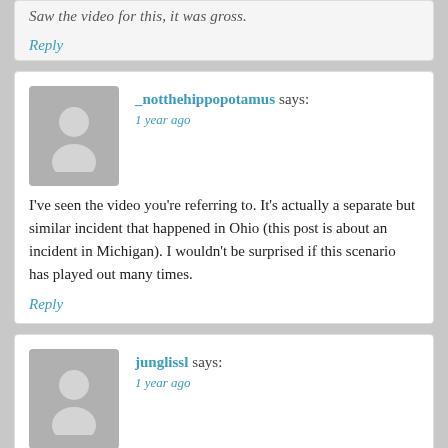Saw the video for this, it was gross.
Reply
_notthehippopotamus says:
1 year ago
I've seen the video you're referring to. It's actually a separate but similar incident that happened in Ohio (this post is about an incident in Michigan). I wouldn't be surprised if this scenario has played out many times.
Reply
junglissl says:
1 year ago
As a black man I would never buy a house in an all white neighborhood, for what, to deal with the